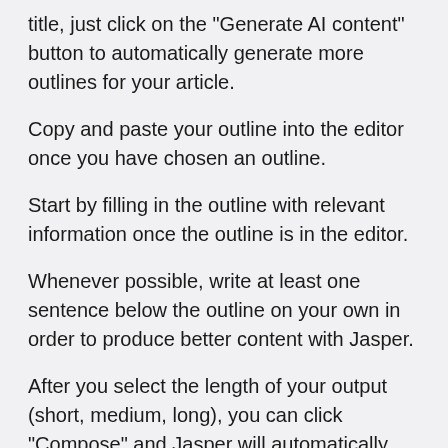title, just click on the "Generate AI content" button to automatically generate more outlines for your article.
Copy and paste your outline into the editor once you have chosen an outline.
Start by filling in the outline with relevant information once the outline is in the editor.
Whenever possible, write at least one sentence below the outline on your own in order to produce better content with Jasper.
After you select the length of your output (short, medium, long), you can click “Compose” and Jasper will automatically create the content.